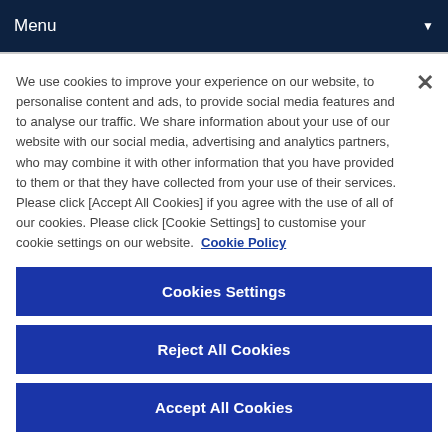Menu
We use cookies to improve your experience on our website, to personalise content and ads, to provide social media features and to analyse our traffic. We share information about your use of our website with our social media, advertising and analytics partners, who may combine it with other information that you have provided to them or that they have collected from your use of their services. Please click [Accept All Cookies] if you agree with the use of all of our cookies. Please click [Cookie Settings] to customise your cookie settings on our website.  Cookie Policy
Cookies Settings
Reject All Cookies
Accept All Cookies